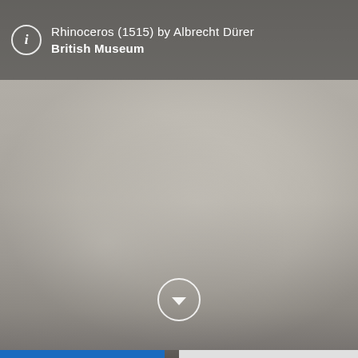[Figure (photo): A screenshot of a museum or art viewer app showing a blurred/unfocused view of the Rhinoceros (1515) artwork by Albrecht Dürer from the British Museum. The image is predominantly grey-beige tones, blurred, with a dark overlay header at the top showing artwork metadata, and a circular chevron/down button near the bottom center.]
Rhinoceros (1515) by Albrecht Dürer
British Museum